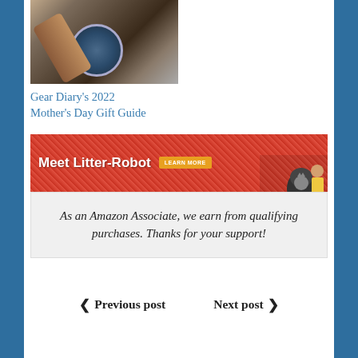[Figure (photo): Partial thumbnail image showing a wristwatch on a person's wrist]
Gear Diary's 2022 Mother's Day Gift Guide
[Figure (other): Advertisement banner for Litter-Robot with text 'Meet Litter-Robot' and 'LEARN MORE' button, showing a woman with a cat and the litter-robot product]
As an Amazon Associate, we earn from qualifying purchases. Thanks for your support!
< Previous post   Next post >